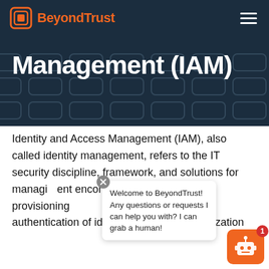BeyondTrust
Management (IAM)
Identity and Access Management (IAM), also called identity management, refers to the IT security discipline, framework, and solutions for managing digital identities. Identity management encompasses user provisioning, authentication of identities, and the authorization
Welcome to BeyondTrust! Any questions or requests I can help you with? I can grab a human!